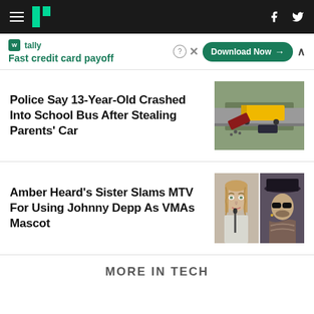HuffPost navigation bar with hamburger menu, logo, Facebook and Twitter icons
[Figure (screenshot): Tally advertisement banner: Fast credit card payoff, Download Now button]
Police Say 13-Year-Old Crashed Into School Bus After Stealing Parents' Car
[Figure (photo): Aerial photo of a school bus crash with a yellow school bus and damaged vehicles on a road]
Amber Heard's Sister Slams MTV For Using Johnny Depp As VMAs Mascot
[Figure (photo): Side by side photo of Amber Heard (left, blonde woman) and Johnny Depp (right, man in hat) in court]
MORE IN TECH